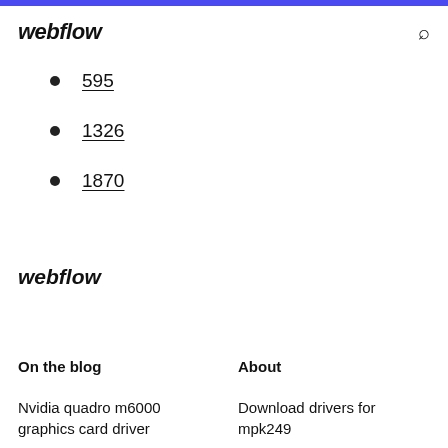webflow
595
1326
1870
webflow
On the blog
About
Nvidia quadro m6000 graphics card driver
Download drivers for mpk249